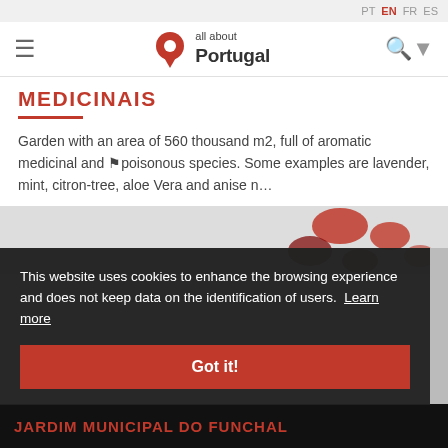PT EN FR ES
[Figure (logo): All About Portugal logo with red map pin icon and text 'all about Portugal']
MEDICINAIS
Garden with an area of 560 thousand m2, full of aromatic medicinal and ⚑poisonous species. Some examples are lavender, mint, citron-tree, aloe Vera and anise n…
[Figure (photo): Partial view of garden image with red/dark decorative elements]
This website uses cookies to enhance the browsing experience and does not keep data on the identification of users. Learn more
Got it!
JARDIM MUNICIPAL DO FUNCHAL